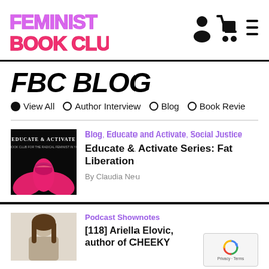[Figure (logo): Feminist Book Club logo with stylized text in purple and pink/red colors]
[Figure (illustration): Navigation icons: person/user icon, shopping cart icon, hamburger menu icon]
FBC BLOG
View All
Author Interview
Blog
Book Review
[Figure (photo): Black background image with Educate and Activate text and a pink lip/flower graphic]
Blog, Educate and Activate, Social Justice
Educate & Activate Series: Fat Liberation
By Claudia Neu
[Figure (photo): Photo of a person with long brown hair against a light background]
Podcast Shownotes
[118] Ariella Elovic, author of CHEEKY